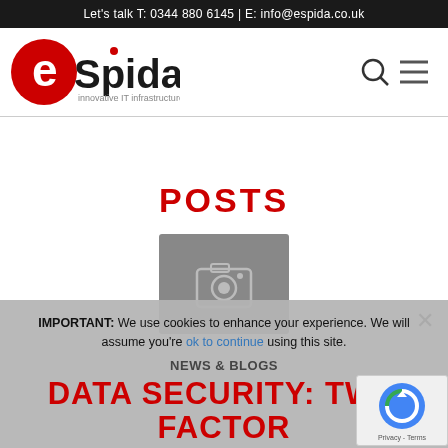Let's talk T: 0344 880 6145 | E: info@espida.co.uk
[Figure (logo): eSpida logo - red circle with white 'e', text 'eSpida' in black, tagline 'innovative IT infrastructure']
POSTS
[Figure (photo): Gray placeholder image with camera icon]
IMPORTANT: We use cookies to enhance your experience. We will assume you're ok to continue using this site.
NEWS & BLOGS
DATA SECURITY: TWO FACTOR